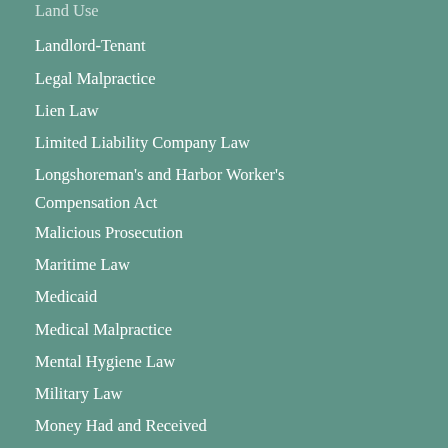Land Use
Landlord-Tenant
Legal Malpractice
Lien Law
Limited Liability Company Law
Longshoreman's and Harbor Worker's Compensation Act
Malicious Prosecution
Maritime Law
Medicaid
Medical Malpractice
Mental Hygiene Law
Military Law
Money Had and Received
Municipal Law
Navigation Law
Negligence